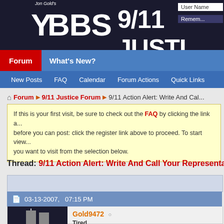[Figure (screenshot): Jon Gold's YBBS 9/11 Justice forum header banner with logo text and user login area]
Forum | What's New?
New Posts | FAQ | Calendar | Forum Actions | Quick Links
Forum ▶ 9/11 Justice Forum ▶ 9/11 Action Alert: Write And Cal...
If this is your first visit, be sure to check out the FAQ by clicking the link a... before you can post: click the register link above to proceed. To start view... you want to visit from the selection below.
Thread: 9/11 Action Alert: Write And Call Your Representati...
03-13-2007,   07:15 PM
[Figure (photo): User avatar showing twin towers silhouette on dark background]
Gold9472 ○
Tired...
[reputation bar]